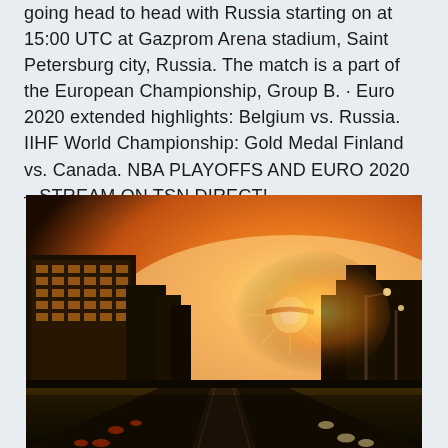going head to head with Russia starting on at 15:00 UTC at Gazprom Arena stadium, Saint Petersburg city, Russia. The match is a part of the European Championship, Group B. · Euro 2020 extended highlights: Belgium vs. Russia. IIHF World Championship: Gold Medal Finland vs. Canada. NBA PLAYOFFS AND EURO 2020 – STREAM ON TSN DIRECT!
[Figure (photo): Aerial view of a wide urban boulevard at sunset with golden sunlight, showing city buildings, heavy traffic, tram or metro rails in center, and a distant arch or monument in warm orange-yellow light.]